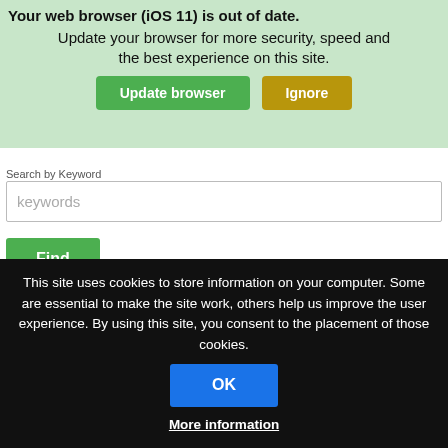[Figure (screenshot): Browser update notification banner with green background, showing 'Your web browser (iOS 11) is out of date. Update your browser for more security, speed and the best experience on this site.' with 'Update browser' (green) and 'Ignore' (yellow-brown) buttons.]
Search by Content Type
All selected (2)
Search by Keyword
keywords
Find
Technical Difficulties
Submit a help ticket if you need technical assistance.
This site uses cookies to store information on your computer. Some are essential to make the site work, others help us improve the user experience. By using this site, you consent to the placement of those cookies.
OK
More information